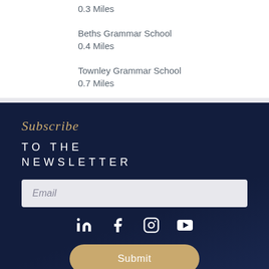0.3 Miles
Beths Grammar School
0.4 Miles
Townley Grammar School
0.7 Miles
Subscribe
TO THE NEWSLETTER
Email
[Figure (infographic): Social media icons: LinkedIn, Facebook, Instagram, YouTube]
Submit